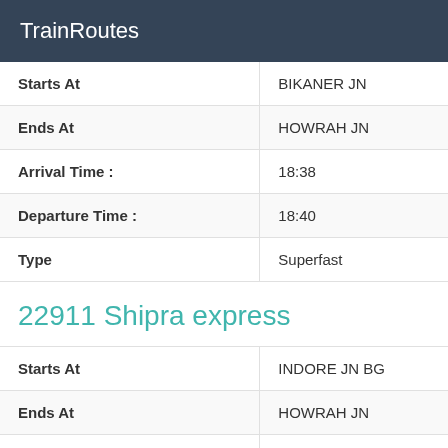TrainRoutes
| Starts At | BIKANER JN |
| Ends At | HOWRAH JN |
| Arrival Time : | 18:38 |
| Departure Time : | 18:40 |
| Type | Superfast |
22911 Shipra express
| Starts At | INDORE JN BG |
| Ends At | HOWRAH JN |
| Arrival Time : | 21:41 |